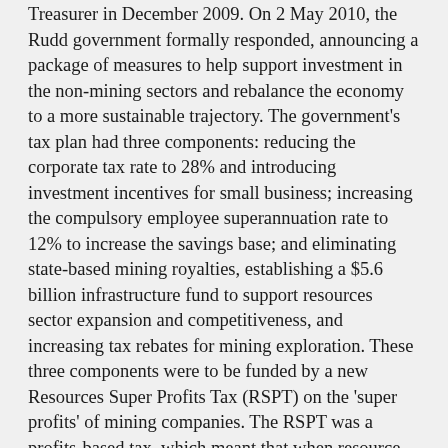Treasurer in December 2009. On 2 May 2010, the Rudd government formally responded, announcing a package of measures to help support investment in the non-mining sectors and rebalance the economy to a more sustainable trajectory. The government's tax plan had three components: reducing the corporate tax rate to 28% and introducing investment incentives for small business; increasing the compulsory employee superannuation rate to 12% to increase the savings base; and eliminating state-based mining royalties, establishing a $5.6 billion infrastructure fund to support resources sector expansion and competitiveness, and increasing tax rebates for mining exploration. These three components were to be funded by a new Resources Super Profits Tax (RSPT) on the 'super profits' of mining companies. The RSPT was a profits-based tax, which meant that when resource companies made large profits their effective tax rate increased and when those profits fell, their tax rate fell. The tax policy was the subject of strong opposition from the mining industry, including an advertising campaign. Immediately following Kevin Rudd's replacement as Prime Minister by Julia Gillard, the Government did a deal with the largest mining companies to replace the RSPT with a new tax – the Minerals Resource Rent Tax (MRRT). The Government obtained the revenue would